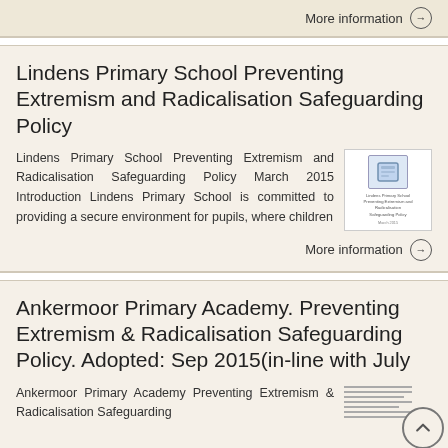More information →
Lindens Primary School Preventing Extremism and Radicalisation Safeguarding Policy
Lindens Primary School Preventing Extremism and Radicalisation Safeguarding Policy March 2015 Introduction Lindens Primary School is committed to providing a secure environment for pupils, where children
More information →
Ankermoor Primary Academy. Preventing Extremism & Radicalisation Safeguarding Policy. Adopted: Sep 2015(in-line with July
Ankermoor Primary Academy Preventing Extremism & Radicalisation Safeguarding